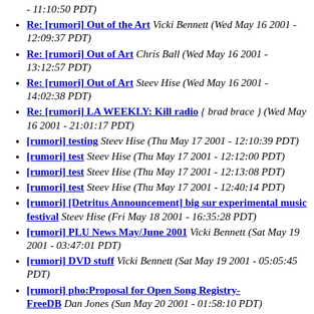- 11:10:50 PDT)
Re: [rumori] Out of the Art Vicki Bennett (Wed May 16 2001 - 12:09:37 PDT)
Re: [rumori] Out of Art Chris Ball (Wed May 16 2001 - 13:12:57 PDT)
Re: [rumori] Out of Art Steev Hise (Wed May 16 2001 - 14:02:38 PDT)
Re: [rumori] LA WEEKLY: Kill radio { brad brace } (Wed May 16 2001 - 21:01:17 PDT)
[rumori] testing Steev Hise (Thu May 17 2001 - 12:10:39 PDT)
[rumori] test Steev Hise (Thu May 17 2001 - 12:12:00 PDT)
[rumori] test Steev Hise (Thu May 17 2001 - 12:13:08 PDT)
[rumori] test Steev Hise (Thu May 17 2001 - 12:40:14 PDT)
[rumori] [Detritus Announcement] big sur experimental music festival Steev Hise (Fri May 18 2001 - 16:35:28 PDT)
[rumori] PLU News May/June 2001 Vicki Bennett (Sat May 19 2001 - 03:47:01 PDT)
[rumori] DVD stuff Vicki Bennett (Sat May 19 2001 - 05:05:45 PDT)
[rumori] pho:Proposal for Open Song Registry-FreeDB Dan Jones (Sun May 20 2001 - 01:58:10 PDT)